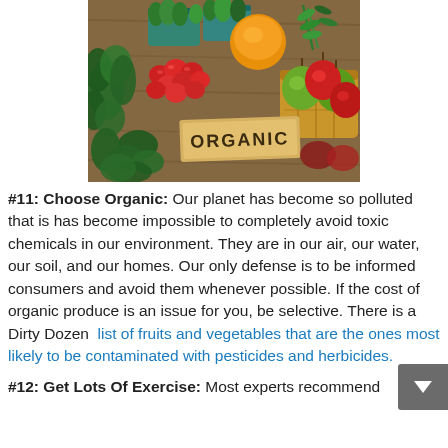[Figure (photo): Photo of organic produce including tomatoes, apples, basil, onion, dill, and other vegetables arranged on a wooden surface with a cardboard sign reading 'ORGANIC']
#11: Choose Organic: Our planet has become so polluted that is has become impossible to completely avoid toxic chemicals in our environment. They are in our air, our water, our soil, and our homes. Our only defense is to be informed consumers and avoid them whenever possible. If the cost of organic produce is an issue for you, be selective. There is a Dirty Dozen list of fruits and vegetables that are the ones most likely to be contaminated with pesticides and herbicides.
#12: Get Lots Of Exercise: Most experts recommend